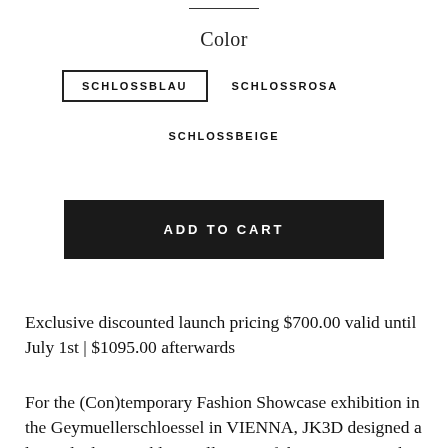Color
SCHLOSSBLAU
SCHLOSSROSA
SCHLOSSBEIGE
ADD TO CART
Exclusive discounted launch pricing $700.00 valid until July 1st | $1095.00 afterwards
For the (Con)temporary Fashion Showcase exhibition in the Geymuellerschloessel in VIENNA, JK3D designed a limited edition Schloss collection of the HY Mini in three unique colors